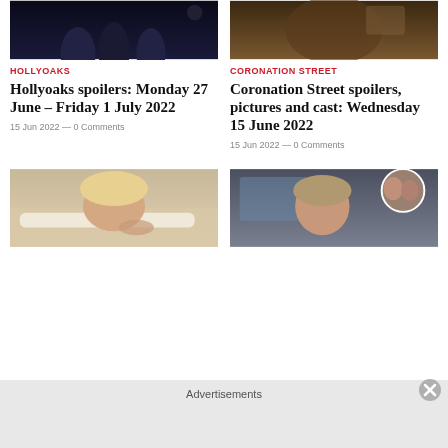[Figure (photo): Hollyoaks top thumbnail – dark scene with figures]
[Figure (photo): Coronation Street top thumbnail – warm toned scene]
HOLLYOAKS
Hollyoaks spoilers: Monday 27 June – Friday 1 July 2022
15 Jun 2022 — 0 Comments
CORONATION STREET
Coronation Street spoilers, pictures and cast: Wednesday 15 June 2022
15 Jun 2022 — 0 Comments
[Figure (photo): Hollyoaks bottom thumbnail – woman lying in hospital bed]
[Figure (photo): Coronation Street bottom thumbnail – older woman with circle inset of younger women]
Advertisements